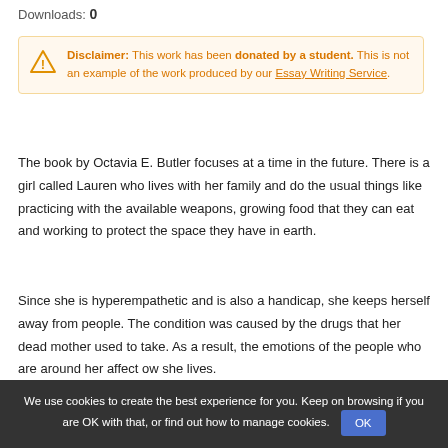Downloads: 0
Disclaimer: This work has been donated by a student. This is not an example of the work produced by our Essay Writing Service.
The book by Octavia E. Butler focuses at a time in the future. There is a girl called Lauren who lives with her family and do the usual things like practicing with the available weapons, growing food that they can eat and working to protect the space they have in earth.
Since she is hyperempathetic and is also a handicap, she keeps herself away from people. The condition was caused by the drugs that her dead mother used to take. As a result, the emotions of the people who are around her affect ow she lives.
We use cookies to create the best experience for you. Keep on browsing if you are OK with that, or find out how to manage cookies.